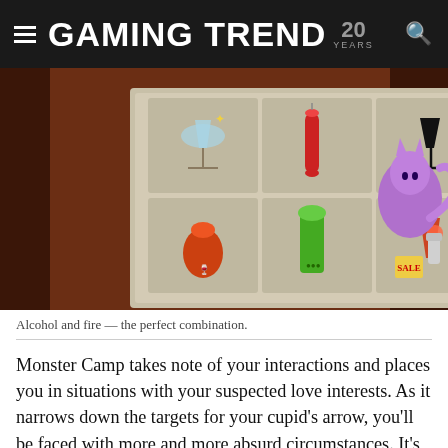GAMING TREND 20 YEARS
[Figure (screenshot): Screenshot of a game showing a selection menu with cocktail/drink icons arranged in a 4x2 grid on a dark bar background, with a purple cat character visible on the right side of the bar.]
Alcohol and fire — the perfect combination.
Monster Camp takes note of your interactions and places you in situations with your suspected love interests. As it narrows down the targets for your cupid's arrow, you'll be faced with more and more absurd circumstances. It's in these events where characters overwhelm you with their antics and their charm. They're all equally unique, loveable, and wholly terrifying. Each character is an eccentric caricature, but complex enough to make choosing the right dialogue option enough of a challenge. Your own morbid